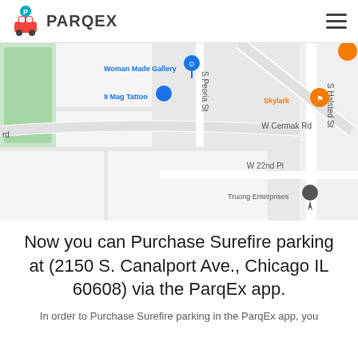PARQEX
[Figure (map): Google Maps screenshot showing the area around 2150 S. Canalport Ave., Chicago IL 60608. Visible landmarks include Woman Made Gallery, 9 Mag Tattoo, Skylark, Truong Enterprises. Streets visible: W 21st St, W Cermak Rd, S Peoria St, W 22nd Pl, S Halsted St.]
Now you can Purchase Surefire parking at (2150 S. Canalport Ave., Chicago IL 60608) via the ParqEx app.
In order to Purchase Surefire parking in the ParqEx app, you